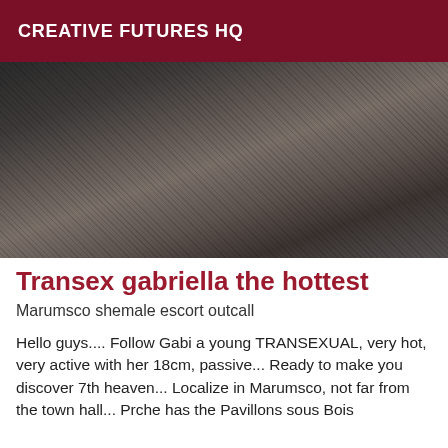CREATIVE FUTURES HQ
[Figure (photo): A person wearing black lingerie and fishnet stockings in an indoor setting]
Transex gabriella the hottest
Marumsco shemale escort outcall
Hello guys.... Follow Gabi a young TRANSEXUAL, very hot, very active with her 18cm, passive... Ready to make you discover 7th heaven... Localize in Marumsco, not far from the town hall... Prche has the Pavillons sous Bois